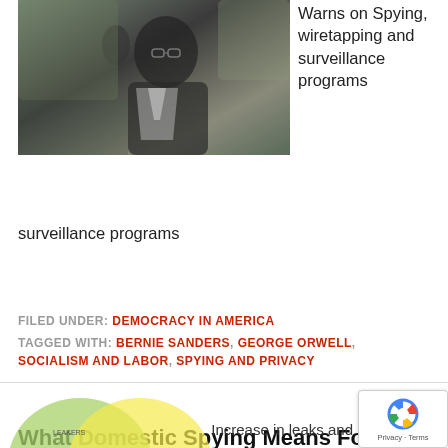[Figure (photo): Black and white photo of a man gesturing with his hand raised, speaking outdoors]
Warns on Spying, wiretapping and surveillance programs
FILED UNDER: DEMOCRACY IN AMERICA
TAGGED WITH: BERNIE SANDERS, GEORGE ORWELL, SOCIALISM AND LABOR, SPYING AND PRIVACY
What Domestic Spying Means For Transparency
BY DC EDITORS - JUNE 11, 2013
[Figure (illustration): Partial venn diagram with overlapping circles visible at bottom left]
Increase in leaks and